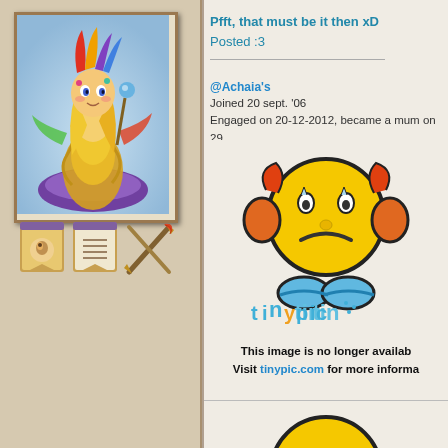[Figure (illustration): Fantasy avatar character - anime-style girl with blonde hair, colorful dragon/serpent body, feathered headpiece, holding a staff, on purple cloud]
[Figure (illustration): Three small forum icons/badges in a row below the avatar]
Pfft, that must be it then xD
Posted :3
@Achaia's
Joined 20 sept. '06
Engaged on 20-12-2012, became a mum on 29
[Figure (illustration): Tinypic sad face emoji image - yellow round sad face character with orange ears and blue feet, with tinypic logo and text 'This image is no longer available. Visit tinypic.com for more information.']
[Figure (illustration): Partial second tinypic sad face emoji at bottom of page]